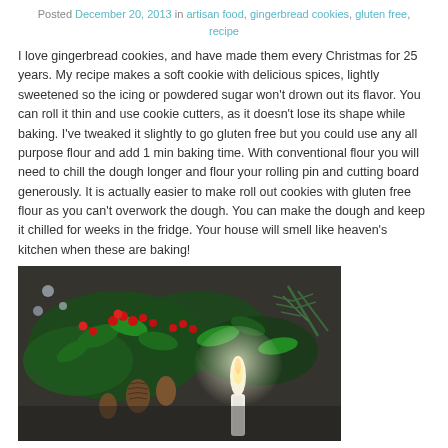Posted December 20, 2013 in artisan food, gingerbread cookies, gluten free, recipe
I love gingerbread cookies, and have made them every Christmas for 25 years. My recipe makes a soft cookie with delicious spices, lightly sweetened so the icing or powdered sugar won't drown out its flavor. You can roll it thin and use cookie cutters, as it doesn't lose its shape while baking. I've tweaked it slightly to go gluten free but you could use any all purpose flour and add 1 min baking time. With conventional flour you will need to chill the dough longer and flour your rolling pin and cutting board generously. It is actually easier to make roll out cookies with gluten free flour as you can't overwork the dough. You can make the dough and keep it chilled for weeks in the fridge. Your house will smell like heaven's kitchen when these are baking!
[Figure (photo): Christmas holiday arrangement with holly leaves, red berries, pine cones, and a white candle lit against a dark background]